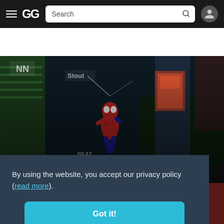GG Search
[Figure (screenshot): Marvel's Spider-Man Remastered game hero banner showing Spider-Man swinging through a city street scene. Green badge reads 'Historical low'. Title: Marvel's Spider-Man Remastered. Price: from ~$40.44]
By using the website, you accept our privacy policy (read more).
Got it!